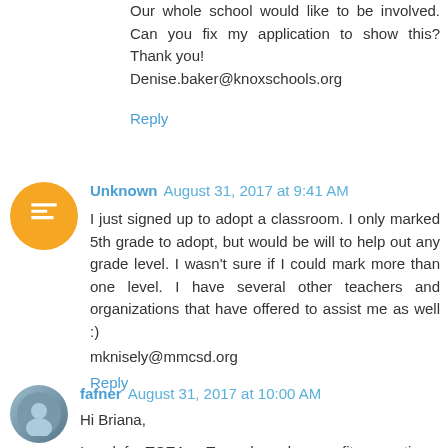Our whole school would like to be involved. Can you fix my application to show this? Thank you!
Denise.baker@knoxschools.org
Reply
Unknown August 31, 2017 at 9:41 AM
I just signed up to adopt a classroom. I only marked 5th grade to adopt, but would be will to help out any grade level. I wasn't sure if I could mark more than one level. I have several other teachers and organizations that have offered to assist me as well :)
mknisely@mmcsd.org
Reply
fafner August 31, 2017 at 10:00 AM
Hi Briana,
I work for TCEA, a Texas-based nonprofit supporting